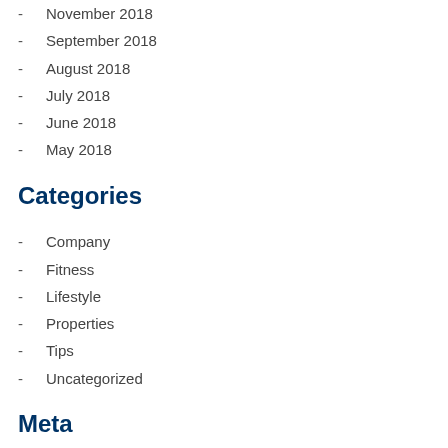November 2018
September 2018
August 2018
July 2018
June 2018
May 2018
Categories
Company
Fitness
Lifestyle
Properties
Tips
Uncategorized
Meta